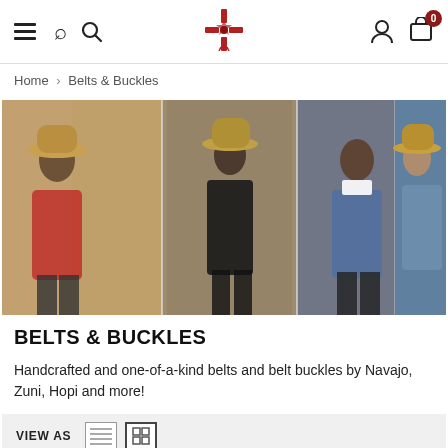Navigation bar with hamburger menu, search, logo, user icon, cart (0)
Home > Belts & Buckles
[Figure (photo): Banner photo collage of five women wearing western/Southwestern fashion including cowboy hats, denim jackets, and colorful accessories]
BELTS & BUCKLES
Handcrafted and one-of-a-kind belts and belt buckles by Navajo, Zuni, Hopi and more!
VIEW AS